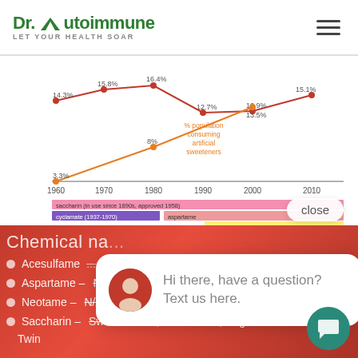[Figure (logo): Dr. Autoimmune logo with mountain icon and tagline LET YOUR HEALTH SOAR]
[Figure (line-chart): Line chart showing two trends from 1960 to 2010 with labeled sweetener bars (saccharin, cyclamate, aspartame, acesulfame K, sucralose, neotame)]
Chemical na...
Acesulfame...
Aspartame – Nutrasweet, Equal
Neotame – N/A
Saccharin – Sweet 'N Low, Sweet Twin, Sugar Twin